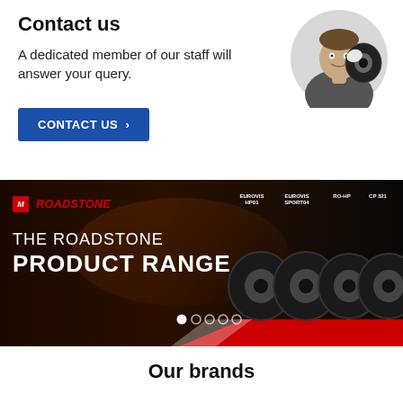Contact us
A dedicated member of our staff will answer your query.
CONTACT US ›
[Figure (photo): A smiling male staff member in a grey shirt and white gloves holding a car tyre, shown in a circular crop.]
[Figure (photo): Roadstone promotional banner showing 'THE ROADSTONE PRODUCT RANGE' with four tyres labelled EUROVIS HP01, EUROVIS SPORT04, RO-HP, CP 321 on a dark background with red and white accents. Carousel dots at the bottom with the first dot active.]
Our brands